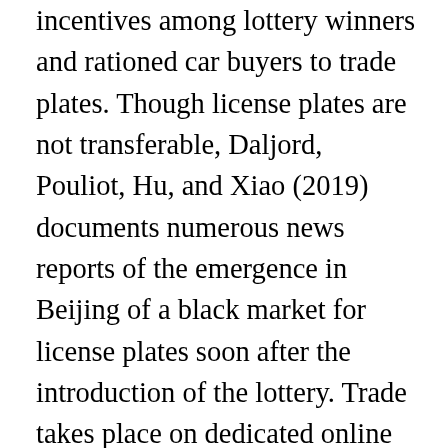incentives among lottery winners and rationed car buyers to trade plates. Though license plates are not transferable, Daljord, Pouliot, Hu, and Xiao (2019) documents numerous news reports of the emergence in Beijing of a black market for license plates soon after the introduction of the lottery. Trade takes place on dedicated online sites and through intermediaries, such as car dealerships. Rentals seem to be the most common kind of transaction, but formal license plate ownership can reportedly be acquired through corrupt officials (e.g., New York Times, 2016)(see Note 1). News outlets also report black markets in other cities (see Note 2). Examples abound of rent-seeking behavior online, such